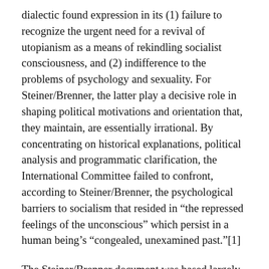dialectic found expression in its (1) failure to recognize the urgent need for a revival of utopianism as a means of rekindling socialist consciousness, and (2) indifference to the problems of psychology and sexuality. For Steiner/Brenner, the latter play a decisive role in shaping political motivations and orientation that, they maintain, are essentially irrational. By concentrating on historical explanations, political analysis and programmatic clarification, the International Committee failed to confront, according to Steiner/Brenner, the psychological barriers to socialism that resided in "the repressed feelings of the unconscious" which persist in a human being's "congealed, unexamined past."[1]
The Steiner/Brenner document was based largely on conceptions that have long been associated with the "critical theory" of the "Frankfurt School" and related ideological tendencies, known collectively as "Western" or "Humanist" Marxism. Associated with the work of Max